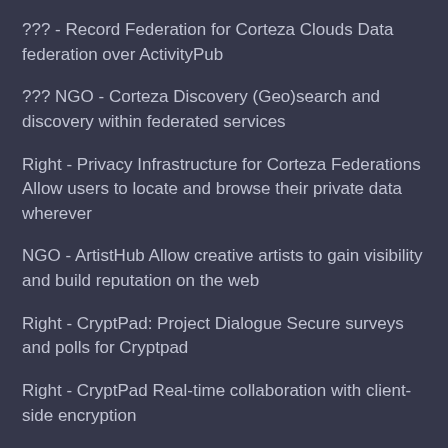??? - Record Federation for Corteza Clouds Data federation over ActivityPub
??? NGO - Corteza Discovery (Geo)search and discovery within federated services
Right - Privacy Infrastructure for Corteza Federations Allow users to locate and browse their private data wherever
NGO - ArtistHub Allow creative artists to gain visibility and build reputation on the web
Right - CryptPad: Project Dialogue Secure surveys and polls for Cryptpad
Right - CryptPad Real-time collaboration with client-side encryption
Right - CryptPad for communities Collaborative web editor with client-side encryption
Right ??? - GNU Guix - Cuirass Continuous